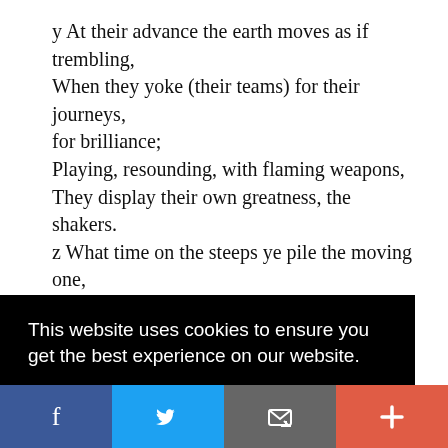y At their advance the earth moves as if trembling, When they yoke (their teams) for their journeys, for brilliance; Playing, resounding, with flaming weapons, They display their own greatness, the shakers. z What time on the steeps ye pile the moving one, Like birds, O Maruts, on whatever path [7], The clouds spill their water on your chariots; Do ye sprinkle for the praiser ghee of honey hue.
This website uses cookies to ensure you get the best experience on our website.
Got it!
[Figure (other): Social share bar with Facebook, Twitter, Email, and Plus buttons]